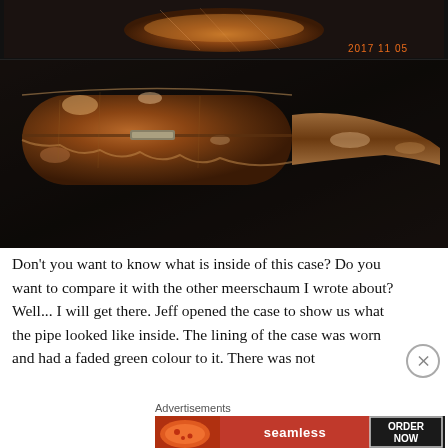[Figure (photo): Top photo: Close-up of the top of an old meerschaum pipe case on dark fabric background, with timestamp '2017 11 05' in orange. Bottom photo: Side view of the worn leather pipe case showing peeling and aged brown leather with a metal clasp, on dark fabric background.]
Don't you want to know what is inside of this case? Do you want to compare it with the other meerschaum I wrote about? Well... I will get there. Jeff opened the case to show us what the pipe looked like inside. The lining of the case was worn and had a faded green colour to it. There was not
Advertisements
[Figure (photo): Advertisement banner for Seamless food delivery service showing pizza, Seamless logo, and ORDER NOW button.]